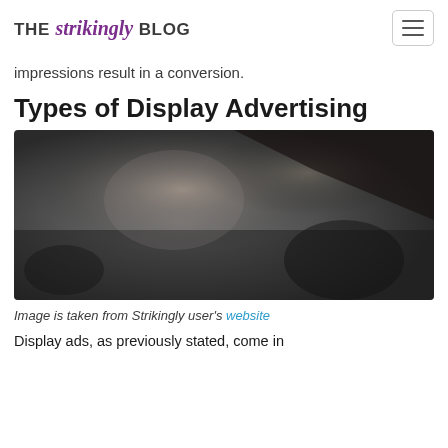THE strikingly BLOG
impressions result in a conversion.
Types of Display Advertising
[Figure (photo): A blurred dark photograph, likely showing an outdoor or abstract scene with dark tones and some light areas.]
Image is taken from Strikingly user's website
Display ads, as previously stated, come in